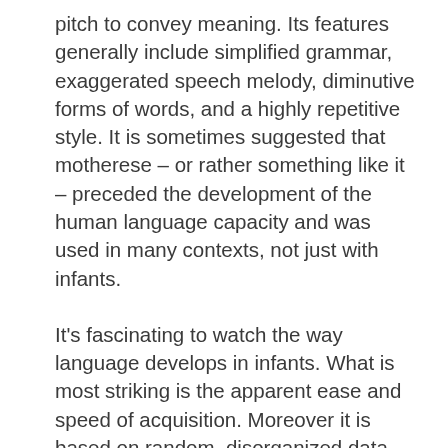pitch to convey meaning. Its features generally include simplified grammar, exaggerated speech melody, diminutive forms of words, and a highly repetitive style. It is sometimes suggested that motherese – or rather something like it – preceded the development of the human language capacity and was used in many contexts, not just with infants.
It's fascinating to watch the way language develops in infants. What is most striking is the apparent ease and speed of acquisition. Moreover it is based on random, disorganized data. Language acquisition is a large – and extremely contentious – field of study, and I don't want to make too many very specific claims here. I will, however, make a few points which tie in with some of the themes raised above.